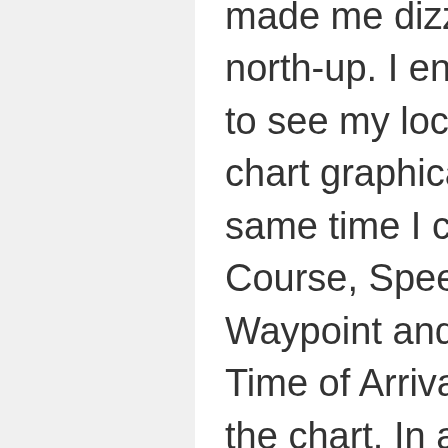made me dizzy. I prefer north-up. I enjoy being able to see my location on the chart graphically at the same time I check my Course, Speed, Distance to Waypoint and Estimated Time of Arrival at the top of the chart. In addition, on the Forecast page, you can send for GRIB charts via email and link to the Tides program, AyeTides XL. What really makes this app stand apart from the others is in the ability to access NMEA data that can be transmitted over your wifi network via a multiplexor, and thus the